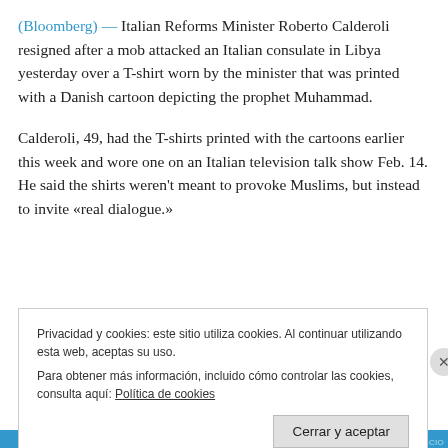(Bloomberg) — Italian Reforms Minister Roberto Calderoli resigned after a mob attacked an Italian consulate in Libya yesterday over a T-shirt worn by the minister that was printed with a Danish cartoon depicting the prophet Muhammad.
Calderoli, 49, had the T-shirts printed with the cartoons earlier this week and wore one on an Italian television talk show Feb. 14. He said the shirts weren't meant to provoke Muslims, but instead to invite «real dialogue.»
Privacidad y cookies: este sitio utiliza cookies. Al continuar utilizando esta web, aceptas su uso.
Para obtener más información, incluido cómo controlar las cookies, consulta aquí: Política de cookies